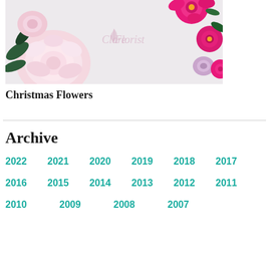[Figure (photo): Clare Florist branded image with pink and white roses and flowers against a light grey background with Clare Florist watermark logo]
Christmas Flowers
Archive
2022
2021
2020
2019
2018
2017
2016
2015
2014
2013
2012
2011
2010
2009
2008
2007